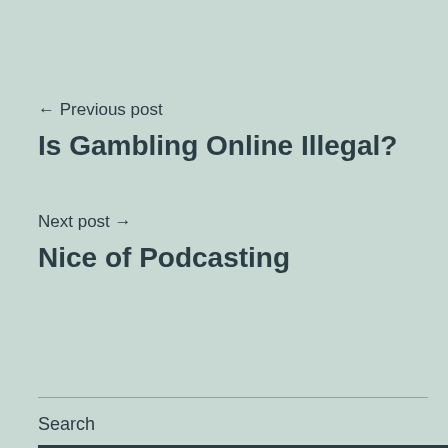← Previous post
Is Gambling Online Illegal?
Next post →
Nice of Podcasting
Search